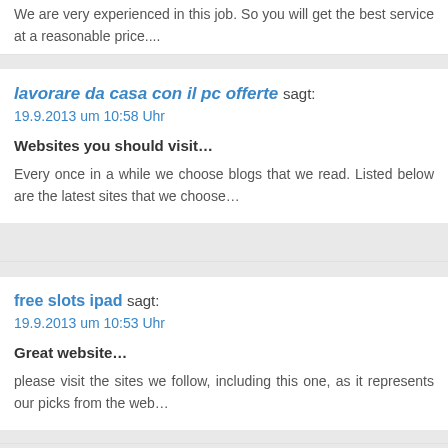We are very experienced in this job. So you will get the best service at a reasonable price....
lavorare da casa con il pc offerte sagt:
19.9.2013 um 10:58 Uhr

Websites you should visit...

Every once in a while we choose blogs that we read. Listed below are the latest sites that we choose...
free slots ipad sagt:
19.9.2013 um 10:53 Uhr

Great website...

please visit the sites we follow, including this one, as it represents our picks from the web...
julbelysning sagt:
19.9.2013 um 09:30 Uhr

Sources...

Here are some of the sites we recommend for our visitor...